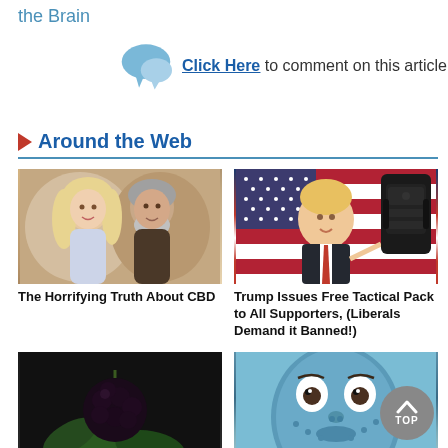the Brain
Click Here to comment on this article
Around the Web
[Figure (photo): A smiling couple, a blonde woman and a man with a gray beard, posed together]
The Horrifying Truth About CBD
[Figure (photo): Donald Trump pointing in front of an American flag, with a tactical backpack overlay]
Trump Issues Free Tactical Pack to All Supporters, (Liberals Demand it Banned!)
[Figure (photo): Close-up of dark berries (blackberries or similar) on a branch with leaves]
[Figure (photo): A person with a blue facial mask, eyes wide open]